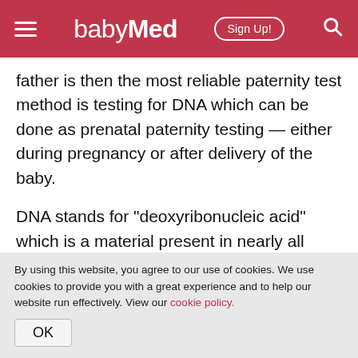babyMed — Sign Up!
father is then the most reliable paternity test method is testing for DNA which can be done as prenatal paternity testing — either during pregnancy or after delivery of the baby.
DNA stands for "deoxyribonucleic acid" which is a material present in nearly all living organisms as the main constituent of chromosomes, carriers of genetic information that are found in the nucleus of most living cells.
By using this website, you agree to our use of cookies. We use cookies to provide you with a great experience and to help our website run effectively. View our cookie policy.